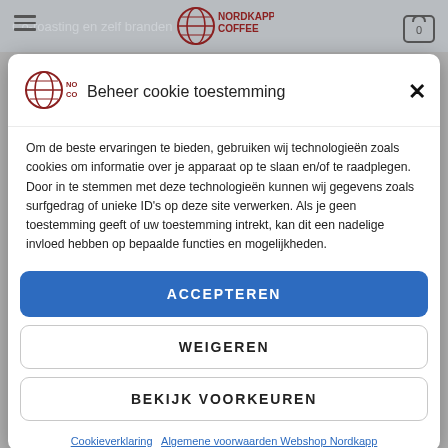Co-roasting en zelf branden
[Figure (logo): Nordkapp Coffee logo with circular globe icon and text NORDKAPP COFFEE in dark red/brown]
Beheer cookie toestemming
Om de beste ervaringen te bieden, gebruiken wij technologieën zoals cookies om informatie over je apparaat op te slaan en/of te raadplegen. Door in te stemmen met deze technologieën kunnen wij gegevens zoals surfgedrag of unieke ID's op deze site verwerken. Als je geen toestemming geeft of uw toestemming intrekt, kan dit een nadelige invloed hebben op bepaalde functies en mogelijkheden.
ACCEPTEREN
WEIGEREN
BEKIJK VOORKEUREN
Cookieverklaring  Algemene voorwaarden Webshop Nordkapp